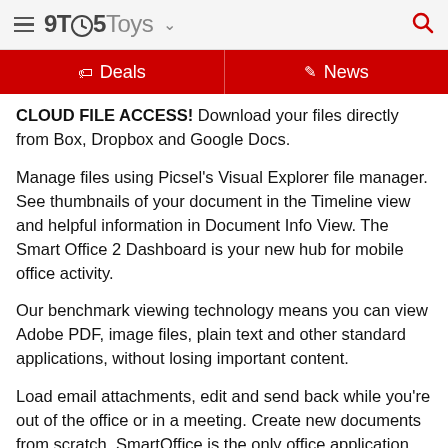9TO5Toys
Deals  News
CLOUD FILE ACCESS! Download your files directly from Box, Dropbox and Google Docs.
Manage files using Picsel's Visual Explorer file manager. See thumbnails of your document in the Timeline view and helpful information in Document Info View. The Smart Office 2 Dashboard is your new hub for mobile office activity.
Our benchmark viewing technology means you can view Adobe PDF, image files, plain text and other standard applications, without losing important content.
Load email attachments, edit and send back while you're out of the office or in a meeting. Create new documents from scratch. SmartOffice is the only office application that